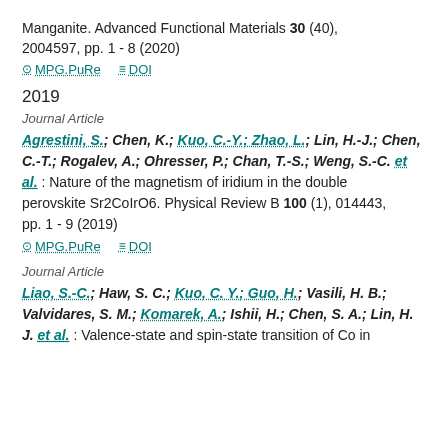Manganite. Advanced Functional Materials 30 (40), 2004597, pp. 1 - 8 (2020)
MPG.PuRe  DOI
2019
Journal Article
Agrestini, S.; Chen, K.; Kuo, C.-Y.; Zhao, L.; Lin, H.-J.; Chen, C.-T.; Rogalev, A.; Ohresser, P.; Chan, T.-S.; Weng, S.-C. et al.: Nature of the magnetism of iridium in the double perovskite Sr2CoIrO6. Physical Review B 100 (1), 014443, pp. 1 - 9 (2019)
MPG.PuRe  DOI
Journal Article
Liao, S.-C.; Haw, S. C.; Kuo, C. Y.; Guo, H.; Vasili, H. B.; Valvidares, S. M.; Komarek, A.; Ishii, H.; Chen, S. A.; Lin, H. J. et al.: Valence-state and spin-state transition of Co in